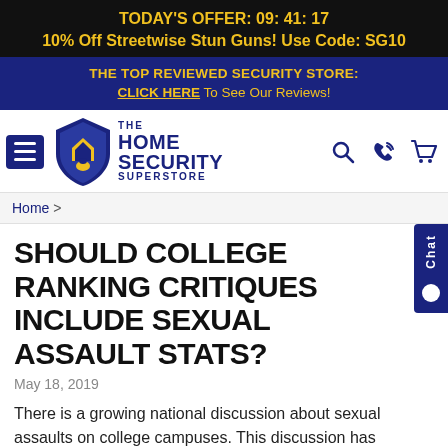TODAY'S OFFER: 09: 41: 17
10% Off Streetwise Stun Guns! Use Code: SG10
THE TOP REVIEWED SECURITY STORE:
CLICK HERE To See Our Reviews!
[Figure (logo): The Home Security Superstore logo with shield icon and navigation icons]
Home >
SHOULD COLLEGE RANKING CRITIQUES INCLUDE SEXUAL ASSAULT STATS?
May 18, 2019
There is a growing national discussion about sexual assaults on college campuses. This discussion has been fueled recently by interest from the White House where Pres. Obama announced the formation of a task force to